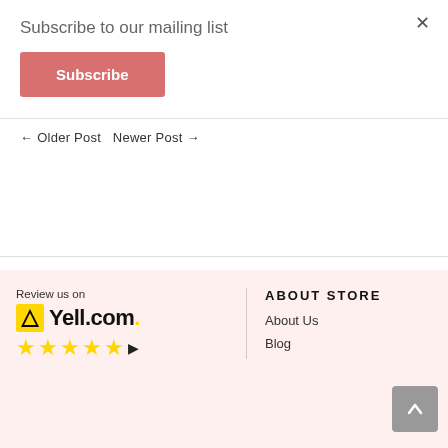Subscribe to our mailing list
Subscribe
← Older Post  Newer Post →
Review us on
[Figure (logo): Yell.com logo with yellow background arrow icon, text Yell.com., and five yellow stars rating with cursor icon]
ABOUT STORE
About Us
Blog